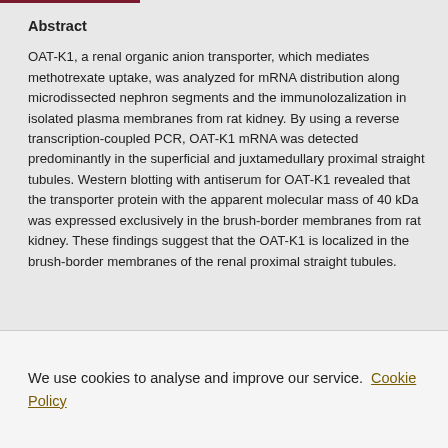Abstract
OAT-K1, a renal organic anion transporter, which mediates methotrexate uptake, was analyzed for mRNA distribution along microdissected nephron segments and the immunolozalization in isolated plasma membranes from rat kidney. By using a reverse transcription-coupled PCR, OAT-K1 mRNA was detected predominantly in the superficial and juxtamedullary proximal straight tubules. Western blotting with antiserum for OAT-K1 revealed that the transporter protein with the apparent molecular mass of 40 kDa was expressed exclusively in the brush-border membranes from rat kidney. These findings suggest that the OAT-K1 is localized in the brush-border membranes of the renal proximal straight tubules.
We use cookies to analyse and improve our service. Cookie Policy